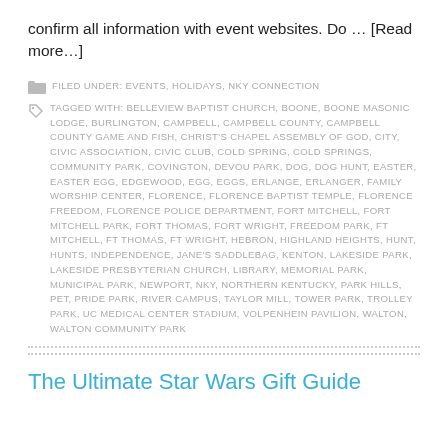confirm all information with event websites. Do … [Read more…]
FILED UNDER: EVENTS, HOLIDAYS, NKY CONNECTION
TAGGED WITH: BELLEVIEW BAPTIST CHURCH, BOONE, BOONE MASONIC LODGE, BURLINGTON, CAMPBELL, CAMPBELL COUNTY, CAMPBELL COUNTY GAME AND FISH, CHRIST'S CHAPEL ASSEMBLY OF GOD, CITY, CIVIC ASSOCIATION, CIVIC CLUB, COLD SPRING, COLD SPRINGS, COMMUNITY PARK, COVINGTON, DEVOU PARK, DOG, DOG HUNT, EASTER, EASTER EGG, EDGEWOOD, EGG, EGGS, ERLANGE, ERLANGER, FAMILY WORSHIP CENTER, FLORENCE, FLORENCE BAPTIST TEMPLE, FLORENCE FREEDOM, FLORENCE POLICE DEPARTMENT, FORT MITCHELL, FORT MITCHELL PARK, FORT THOMAS, FORT WRIGHT, FREEDOM PARK, FT MITCHELL, FT THOMAS, FT WRIGHT, HEBRON, HIGHLAND HEIGHTS, HUNT, HUNTS, INDEPENDENCE, JANE'S SADDLEBAG, KENTON, LAKESIDE PARK, LAKESIDE PRESBYTERIAN CHURCH, LIBRARY, MEMORIAL PARK, MUNICIPAL PARK, NEWPORT, NKY, NORTHERN KENTUCKY, PARK HILLS, PET, PRIDE PARK, RIVER CAMPUS, TAYLOR MILL, TOWER PARK, TROLLEY PARK, UC MEDICAL CENTER STADIUM, VOLPENHEIN PAVILION, WALTON, WALTON COMMUNITY PARK
The Ultimate Star Wars Gift Guide